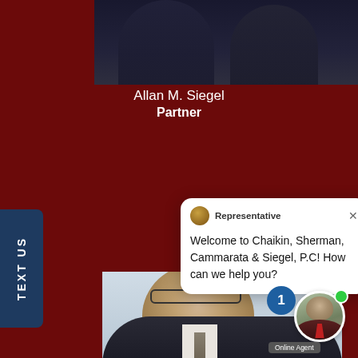[Figure (photo): Top portion showing two people in dark suits on dark maroon background, cropped at shoulders]
Allan M. Siegel
Partner
[Figure (screenshot): Chat widget popup with Representative avatar, close button, and message: Welcome to Chaikin, Sherman, Cammarata & Siegel, P.C! How can we help you?]
Representative
Welcome to Chaikin, Sherman, Cammarata & Siegel, P.C! How can we help you?
[Figure (photo): TEXT US vertical sidebar button in dark navy blue]
[Figure (photo): Bottom half shows smiling man in suit with glasses, plus online agent widget showing badge with 1, circular photo of agent, green online dot, and Online Agent label]
Online Agent